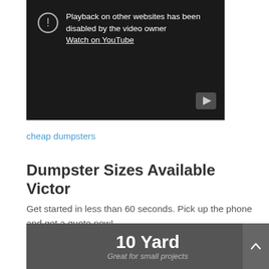[Figure (screenshot): YouTube-style video embed showing a disabled playback message: 'Playback on other websites has been disabled by the video owner' with a 'Watch on YouTube' link, and a play button icon in the bottom right corner.]
cheap dumpsters
Dumpster Sizes Available Victor
Get started in less than 60 seconds. Pick up the phone and get a quote now!
10 Yard
Great for small projects